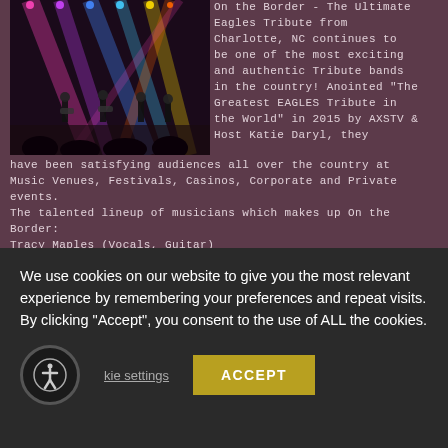[Figure (photo): Concert stage photo with colorful lights (purple, blue, yellow) and musicians performing on stage]
On the Border - The Ultimate Eagles Tribute from Charlotte, NC continues to be one of the most exciting and authentic Tribute bands in the country! Anointed "The Greatest EAGLES Tribute in the World" in 2015 by AXSTV & Host Katie Daryl, they have been satisfying audiences all over the country at Music Venues, Festivals, Casinos, Corporate and Private events.
The talented lineup of musicians which makes up On the Border:
Tracy Maples (Vocals, Guitar)
Tim Giovanniello (Vocals, Guitar)
Bill Morgan (Vocals, Guitar)
We use cookies on our website to give you the most relevant experience by remembering your preferences and repeat visits. By clicking "Accept", you consent to the use of ALL the cookies.